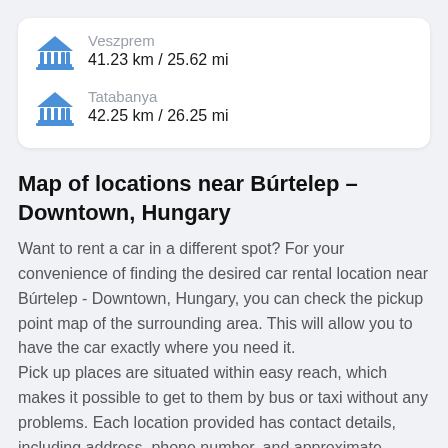Veszprem
41.23 km / 25.62 mi
Tatabanya
42.25 km / 26.25 mi
Map of locations near Búrtelep – Downtown, Hungary
Want to rent a car in a different spot? For your convenience of finding the desired car rental location near Búrtelep - Downtown, Hungary, you can check the pickup point map of the surrounding area. This will allow you to have the car exactly where you need it.
Pick up places are situated within easy reach, which makes it possible to get to them by bus or taxi without any problems. Each location provided has contact details, including address, phone number, and approximate distance from Búrtelep - Downtown, Hungary. By clicking on any of them you will get a